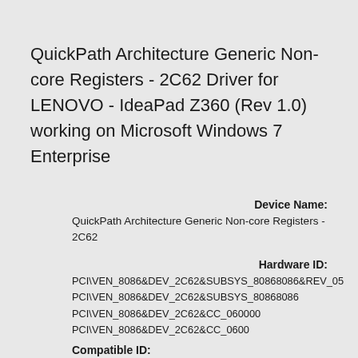QuickPath Architecture Generic Non-core Registers - 2C62 Driver for LENOVO - IdeaPad Z360 (Rev 1.0) working on Microsoft Windows 7 Enterprise
Device Name:
QuickPath Architecture Generic Non-core Registers - 2C62
Hardware ID:
PCI\VEN_8086&DEV_2C62&SUBSYS_80868086&REV_05
PCI\VEN_8086&DEV_2C62&SUBSYS_80868086
PCI\VEN_8086&DEV_2C62&CC_060000
PCI\VEN_8086&DEV_2C62&CC_0600
Compatible ID: